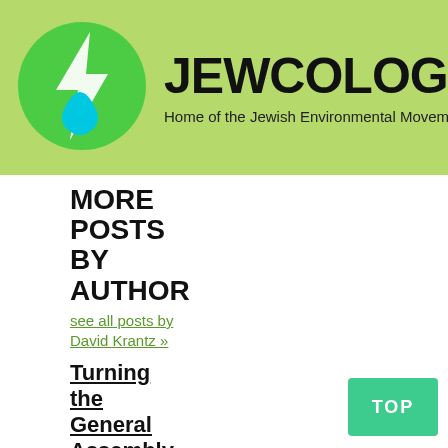JEWCOLOGY.ORG — Home of the Jewish Environmental Movement
MORE POSTS BY AUTHOR
see all posts by
David Krantz »
Turning the General Assembly into a Green Assembly
Posted on November 15,2010